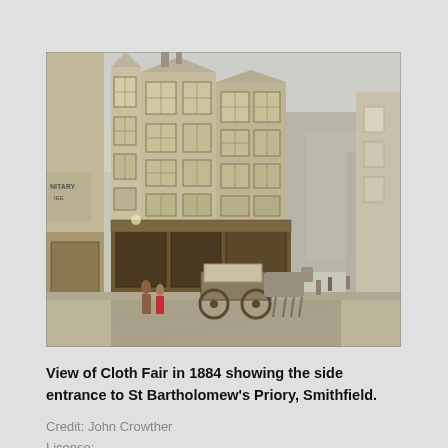[Figure (illustration): A watercolor painting showing View of Cloth Fair in 1884, depicting a Victorian London street scene with tall multi-story buildings with gabled roofs and large multi-pane windows, shops at street level, a horse-drawn cart in the street, and figures on the pavement. The street recedes into the distance. On the left a partial sign reads 'NITARY' and 'IEE'. The painting is in muted earthy and grey tones.]
View of Cloth Fair in 1884 showing the side entrance to St Bartholomew's Priory, Smithfield.
Credit: John Crowther
License: